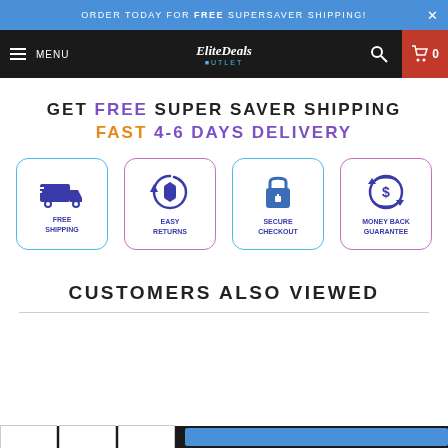ORDER TODAY FOR FREE SUPERSAVER SHIPPING!
MENU | EliteDeals OUTLET
GET FREE SUPER SAVER SHIPPING
FAST 4-6 DAYS DELIVERY
[Figure (infographic): Four feature icons in rounded-corner boxes: FREE SHIPPING (truck icon), EASY RETURNS (box with arrows icon), SECURE CHECKOUT (padlock icon), MONEY BACK GUARANTEE (dollar sign with arrows icon)]
CUSTOMERS ALSO VIEWED